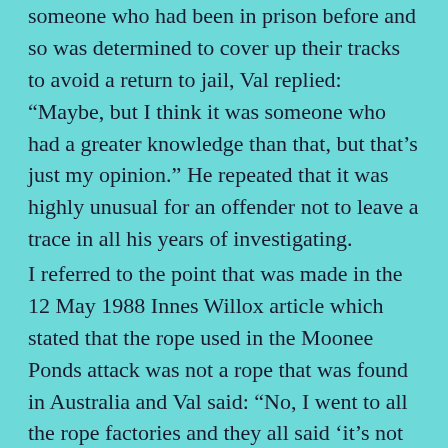someone who had been in prison before and so was determined to cover up their tracks to avoid a return to jail, Val replied: “Maybe, but I think it was someone who had a greater knowledge than that, but that’s just my opinion.” He repeated that it was highly unusual for an offender not to leave a trace in all his years of investigating.
I referred to the point that was made in the 12 May 1988 Innes Willox article which stated that the rope used in the Moonee Ponds attack was not a rope that was found in Australia and Val said: “No, I went to all the rope factories and they all said ‘it’s not made in Australia, it’s from overseas’”.